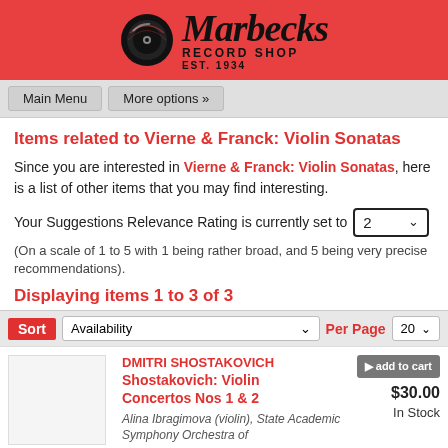[Figure (logo): Marbecks Record Shop logo with vinyl record icon, cursive Marbecks text, 'RECORD SHOP' and 'EST. 1934' on red banner]
Main Menu   More options »
Items related to Vierne & Franck: Violin Sonatas
Since you are interested in Vierne & Franck: Violin Sonatas, here is a list of other items that you may find interesting.
Your Suggestions Relevance Rating is currently set to 2
(On a scale of 1 to 5 with 1 being rather broad, and 5 being very precise recommendations).
Displaying items 1 to 3 of 3
Sort  Availability    Per Page  20
| Thumbnail | Product | Actions |
| --- | --- | --- |
|  | DMITRI SHOSTAKOVICH
Shostakovich: Violin Concertos Nos 1 & 2
Alina Ibragimova (violin), State Academic Symphony Orchestra of | add to cart
$30.00
In Stock |